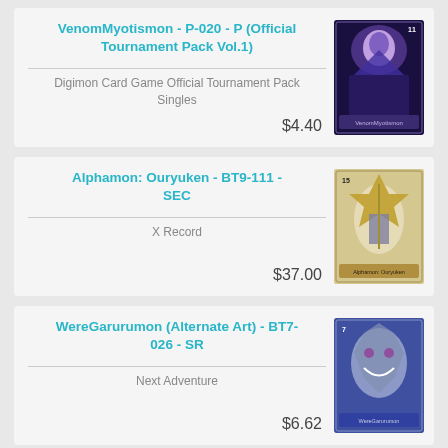VenomMyotismon - P-020 - P (Official Tournament Pack Vol.1)
Digimon Card Game Official Tournament Pack Singles
$4.40
Alphamon: Ouryuken - BT9-111 - SEC
X Record
$37.00
WereGarurumon (Alternate Art) - BT7-026 - SR
Next Adventure
$6.62